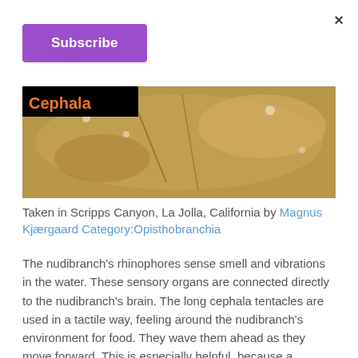×
Subscribe
[Figure (photo): Close-up underwater photograph of a nudibranch, sandy/golden tones, with a 'Cephala' label overlay in orange text on black background]
Taken in Scripps Canyon, La Jolla, California by Magnus Kjærgaard Category:Opisthobranchia
The nudibranch's rhinophores sense smell and vibrations in the water. These sensory organs are connected directly to the nudibranch's brain. The long cephala tentacles are used in a tactile way, feeling around the nudibranch's environment for food. They wave them ahead as they move forward. This is especially helpful, because a nudibranch has very poor eyesight.